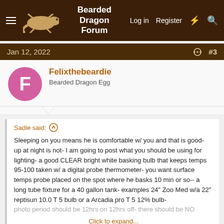Bearded Dragon Forum — Log in | Register
Jan 12, 2022  #3
Felixthebeardie
Bearded Dragon Egg
Sadie said: ↑ Sleeping on you means he is comfortable w/ you and that is good- up at night is not- I am going to post what you should be using for lighting- a good CLEAR bright white basking bulb that keeps temps 95-100 taken w/ a digital probe thermometer- you want surface temps probe placed on the spot where he basks 10 min or so-- a long tube fixture for a 40 gallon tank- examples 24" Zoo Med w/a 22" reptisun 10.0 T 5 bulb or a Arcadia pro T 5 12% bulb- photo period should be 12hrs on 12hrs off- there should be NO Click to expand...
Omgee... the bulb Its two